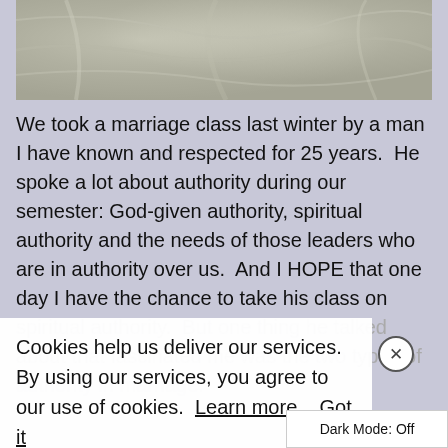[Figure (photo): Close-up photo of white/cream fabric with folds and texture, appearing to be a wedding dress or similar white cloth garment]
We took a marriage class last winter by a man I have known and respected for 25 years.  He spoke a lot about authority during our semester: God-given authority, spiritual authority and the needs of those leaders who are in authority over us.  And I HOPE that one day I have the chance to take his class on spiritual authority.  But one thing he talked about that fascinated me was the two types of authority in marriage.
Cookies help us deliver our services. By using our services, you agree to our use of cookies.  Learn more   Got it
Dark Mode: Off